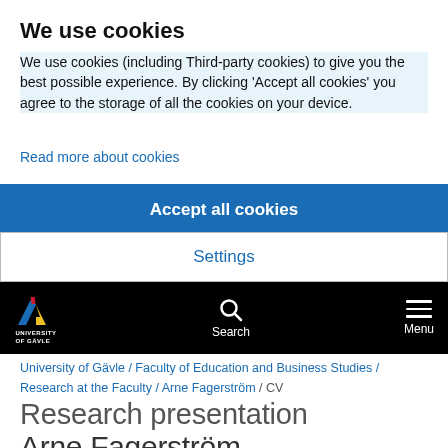We use cookies
We use cookies (including Third-party cookies) to give you the best possible experience. By clicking 'Accept all cookies' you agree to the storage of all the cookies on your device.
Read more about cookies
Accept all cookies
Settings
[Figure (logo): University of Gävle logo with search and menu navigation on black bar]
University of Gävle / Faculty of Education and Business Studies / Research at the Faculty / Arne Fagerström / CV
Research presentation
Arne Fagerström